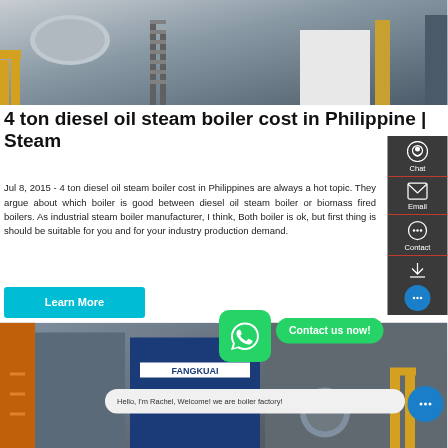[Figure (photo): Industrial boiler facility interior with yellow pipes, metal staircases, and industrial equipment]
4 ton diesel oil steam boiler cost in Philippine | Steam
Jul 8, 2015 - 4 ton diesel oil steam boiler cost in Philippines are always a hot topic. They argue about which boiler is good between diesel oil steam boiler or biomass fired boilers. As industrial steam boiler manufacturer, I think, Both boiler is ok, but first thing is should be suitable for you and for your industry production demand.
[Figure (photo): Industrial boiler room with blue FANGKUAI branded equipment, pipes and machinery]
Hello, I'm Rachel, Welcome! we are boiler factory!